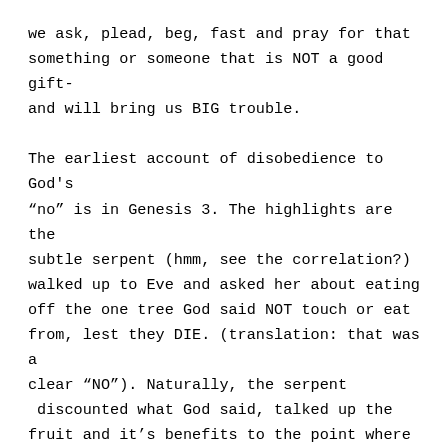we ask, plead, beg, fast and pray for that something or someone that is NOT a good gift- and will bring us BIG trouble.

The earliest account of disobedience to God's "no" is in Genesis 3. The highlights are the subtle serpent (hmm, see the correlation?) walked up to Eve and asked her about eating off the one tree God said NOT touch or eat from, lest they DIE. (translation: that was a clear "NO"). Naturally, the serpent  discounted what God said, talked up the fruit and it's benefits to the point where Eve ate it and gave some to Adam. Notice God